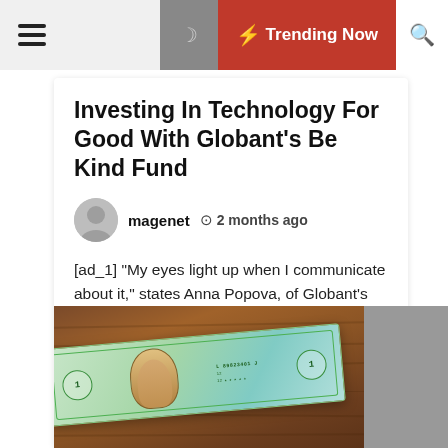Trending Now
Investing In Technology For Good With Globant’s Be Kind Fund
magenet   2 months ago
[ad_1] “My eyes light up when I communicate about it,” states Anna Popova, of Globant’s new Be Form Tech Fund. A vice president for supply at the electronic technologies business, Popova is co-primary the fund, which has a remit to again businesses with a pretty distinct variety of acquire on […]
[Figure (photo): A US one-dollar bill lying on a wooden surface, with a gray panel on the right side]